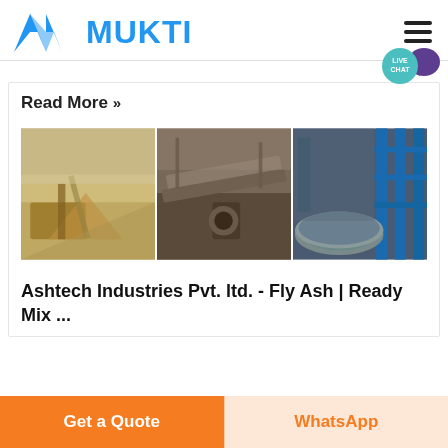MUKTI
[Figure (logo): Mukti logo with blue triangular M icon and bold blue MUKTI text]
Read More »
[Figure (photo): Three industrial/mining facility photos side by side: quarry with dust, factory conveyor machinery, and industrial drum/cylinder equipment with blue steel structure]
Ashtech Industries Pvt. ltd. - Fly Ash | Ready Mix ...
Get a Quote
WhatsApp